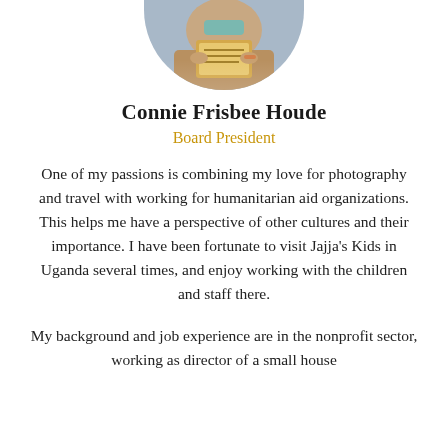[Figure (photo): Circular cropped photo of Connie Frisbee Houde, partially visible at top of page, showing a person holding a book/magazine outdoors.]
Connie Frisbee Houde
Board President
One of my passions is combining my love for photography and travel with working for humanitarian aid organizations. This helps me have a perspective of other cultures and their importance. I have been fortunate to visit Jajja's Kids in Uganda several times, and enjoy working with the children and staff there.
My background and job experience are in the nonprofit sector, working as director of a small house